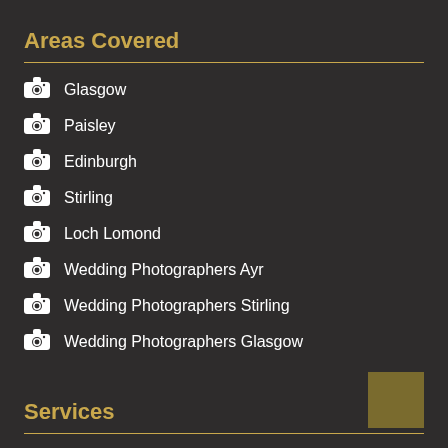Areas Covered
Glasgow
Paisley
Edinburgh
Stirling
Loch Lomond
Wedding Photographers Ayr
Wedding Photographers Stirling
Wedding Photographers Glasgow
Services